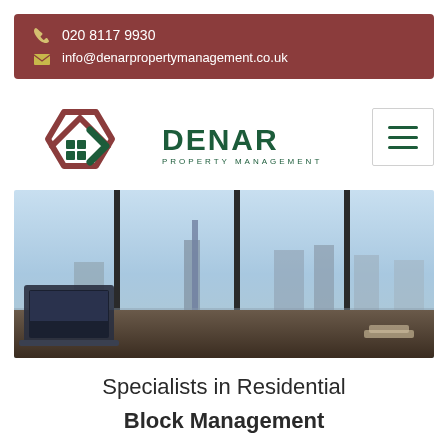020 8117 9930
info@denarpropertymanagement.co.uk
[Figure (logo): Denar Property Management logo — house/hexagon shape in dark red and dark green with grid squares, company name DENAR PROPERTY MANAGEMENT in dark green]
[Figure (photo): Office interior with laptop on desk, large floor-to-ceiling windows showing a city skyline (New York-style) with blue sky]
Specialists in Residential Block Management